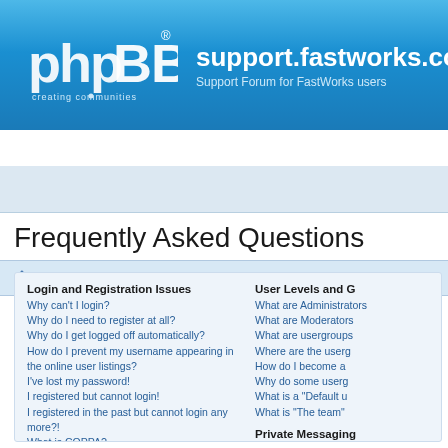support.fastworks.com — Support Forum for FastWorks users
Board index
Frequently Asked Questions
Login and Registration Issues
Why can't I login?
Why do I need to register at all?
Why do I get logged off automatically?
How do I prevent my username appearing in the online user listings?
I've lost my password!
I registered but cannot login!
I registered in the past but cannot login any more?!
What is COPPA?
Why can't I register?
What does the "Delete all board cookies" do?
User Preferences and settings
How do I change my settings?
User Levels and G
What are Administrators?
What are Moderators?
What are usergroups?
Where are the usergroups?
How do I become a usergroup leader?
Why do some usergroups appear in a different colour?
What is a "Default usergroup"?
What is "The team" link?
Private Messaging
I cannot send private messages!
I keep getting unwanted private messages!
I have received a spamming or abusive email from someone on this board!